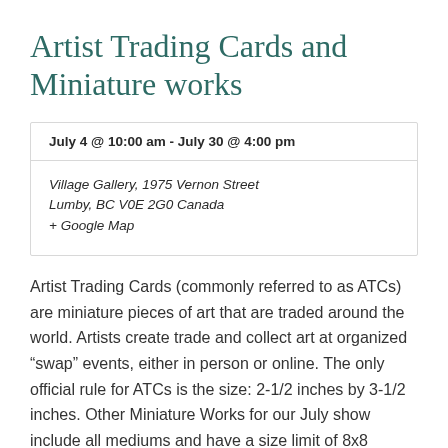Artist Trading Cards and Miniature works
| July 4 @ 10:00 am - July 30 @ 4:00 pm |
| Village Gallery, 1975 Vernon Street Lumby, BC V0E 2G0 Canada + Google Map |
Artist Trading Cards (commonly referred to as ATCs) are miniature pieces of art that are traded around the world. Artists create trade and collect art at organized “swap” events, either in person or online. The only official rule for ATCs is the size: 2-1/2 inches by 3-1/2 inches. Other Miniature Works for our July show include all mediums and have a size limit of 8x8 inches for canvas. The ATC movement was started in 1997